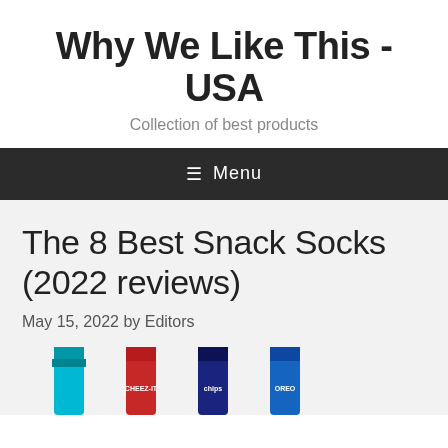Why We Like This - USA
Collection of best products
☰ Menu
The 8 Best Snack Socks (2022 reviews)
May 15, 2022 by Editors
[Figure (photo): Four colorful snack-branded socks: cyan, red (Cheez-It), dark-blue (Chips), and blue (Oreo)]